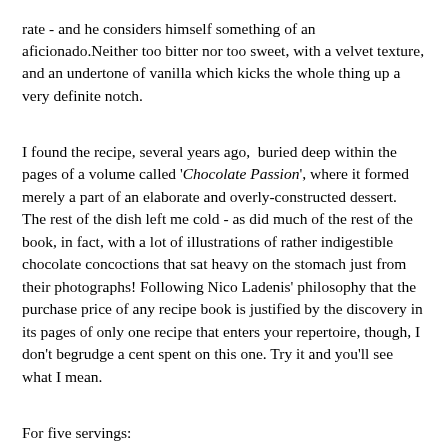rate - and he considers himself something of an aficionado.Neither too bitter nor too sweet, with a velvet texture, and an undertone of vanilla which kicks the whole thing up a very definite notch.
I found the recipe, several years ago,  buried deep within the pages of a volume called 'Chocolate Passion', where it formed merely a part of an elaborate and overly-constructed dessert.  The rest of the dish left me cold - as did much of the rest of the book, in fact, with a lot of illustrations of rather indigestible chocolate concoctions that sat heavy on the stomach just from their photographs! Following Nico Ladenis' philosophy that the purchase price of any recipe book is justified by the discovery in its pages of only one recipe that enters your repertoire, though, I don't begrudge a cent spent on this one. Try it and you'll see what I mean.
For five servings:
Ingredients: 5 medium egg yolks; half a cup of sugar; generous pinch of salt; one and a quarter cups of cream; 1 cup of milk; 6 ounces of dark chocolate (coarsely chopped if